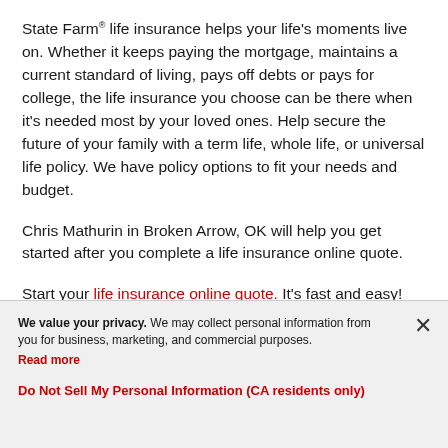State Farm® life insurance helps your life's moments live on. Whether it keeps paying the mortgage, maintains a current standard of living, pays off debts or pays for college, the life insurance you choose can be there when it's needed most by your loved ones. Help secure the future of your family with a term life, whole life, or universal life policy. We have policy options to fit your needs and budget.
Chris Mathurin in Broken Arrow, OK will help you get started after you complete a life insurance online quote.
Start your life insurance online quote. It's fast and easy!
We value your privacy. We may collect personal information from you for business, marketing, and commercial purposes. Read more
Do Not Sell My Personal Information (CA residents only)